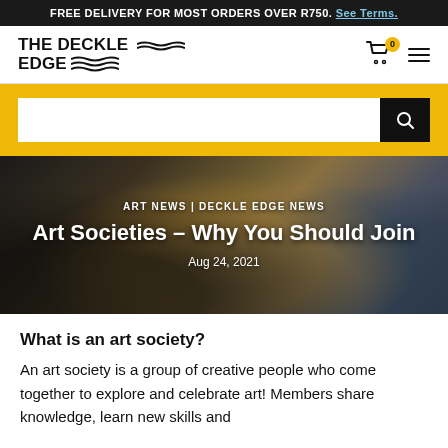FREE DELIVERY FOR MOST ORDERS OVER R750. See Terms.
[Figure (logo): THE DECKLE EDGE logo with wave lines underneath]
[Figure (screenshot): Yellow search bar section with white input field and black search button]
[Figure (photo): Three people working together in an art studio/workshop setting]
ART NEWS | DECKLE EDGE NEWS
Art Societies – Why You Should Join
Aug 24, 2021
What is an art society?
An art society is a group of creative people who come together to explore and celebrate art! Members share knowledge, learn new skills and